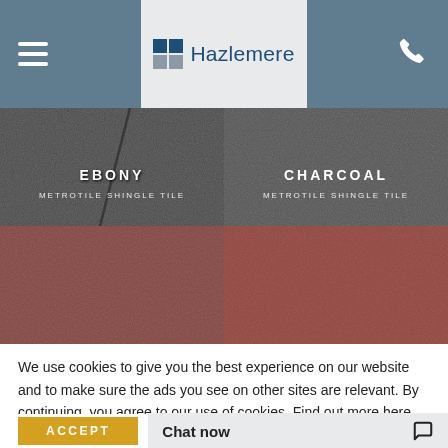Hazlemere
[Figure (photo): Four roofing tile texture swatches in a 2x2 grid: top-left is Ebony Metrotile Shingle Tile (dark gray), top-right is Charcoal Metrotile Shingle Tile (dark gray), bottom-left and bottom-right are reddish/terracotta colored tiles.]
We use cookies to give you the best experience on our website and to make sure the ads you see on other sites are relevant. By continuing, you agree to our use of cookies. Find out more here.
ACCEPT
Chat now